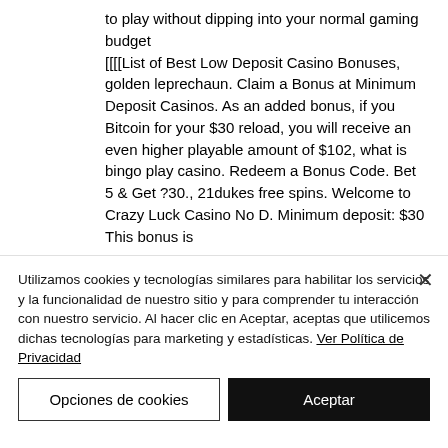to play without dipping into your normal gaming budget
[[[[List of Best Low Deposit Casino Bonuses, golden leprechaun. Claim a Bonus at Minimum Deposit Casinos. As an added bonus, if you Bitcoin for your $30 reload, you will receive an even higher playable amount of $102, what is bingo play casino. Redeem a Bonus Code. Bet 5 & Get ?30., 21dukes free spins. Welcome to Crazy Luck Casino No D. Minimum deposit: $30 This bonus is
Utilizamos cookies y tecnologías similares para habilitar los servicios y la funcionalidad de nuestro sitio y para comprender tu interacción con nuestro servicio. Al hacer clic en Aceptar, aceptas que utilicemos dichas tecnologías para marketing y estadísticas. Ver Política de Privacidad
Opciones de cookies
Aceptar